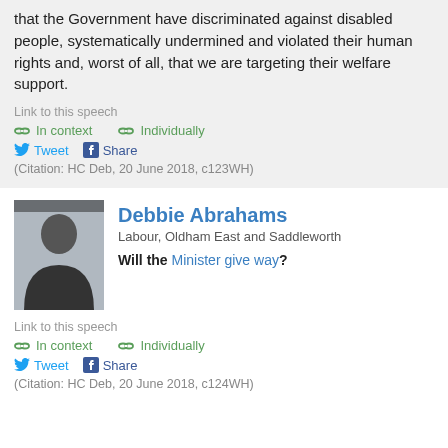that the Government have discriminated against disabled people, systematically undermined and violated their human rights and, worst of all, that we are targeting their welfare support.
Link to this speech
In context   Individually
Tweet   Share
(Citation: HC Deb, 20 June 2018, c123WH)
Debbie Abrahams
Labour, Oldham East and Saddleworth
Will the Minister give way?
Link to this speech
In context   Individually
Tweet   Share
(Citation: HC Deb, 20 June 2018, c124WH)